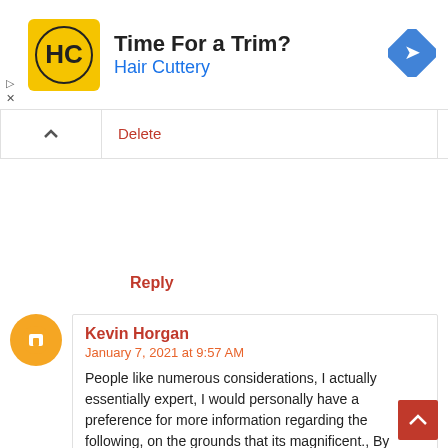[Figure (screenshot): Advertisement banner for Hair Cuttery with logo, text 'Time For a Trim?' and 'Hair Cuttery', and a blue navigation arrow icon]
Delete
Reply
Kevin Horgan
January 7, 2021 at 9:57 AM
People like numerous considerations, I actually essentially expert, I would personally have a preference for more information regarding the following, on the grounds that its magnificent., By using as a consequence of have dispersion.
http://www.fokuszpalyazat.hu/
Reply  Delete